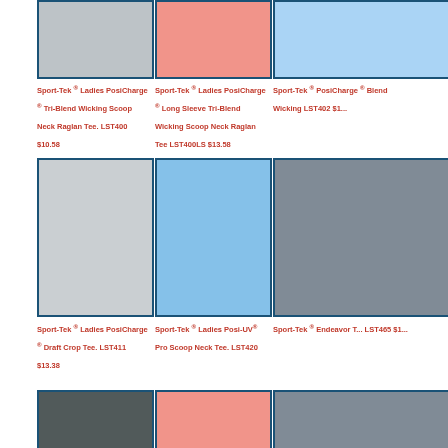[Figure (photo): Woman wearing gray Sport-Tek tri-blend scoop neck raglan tee (top row, col 1)]
Sport-Tek ® Ladies PosiCharge ® Tri-Blend Wicking Scoop Neck Raglan Tee. LST400 $10.58
[Figure (photo): Woman wearing pink Sport-Tek long sleeve tri-blend scoop neck raglan tee (top row, col 2)]
Sport-Tek ® Ladies PosiCharge ® Long Sleeve Tri-Blend Wicking Scoop Neck Raglan Tee LST400LS $13.58
[Figure (photo): Woman wearing blue Sport-Tek PosiCharge Blend Wicking tee (top row, col 3, partially visible)]
Sport-Tek ® PosiCharge ® Blend Wicking... LST402 $1...
[Figure (photo): Woman wearing gray Sport-Tek PosiCharge Draft Crop Tee (middle row, col 1)]
Sport-Tek ® Ladies PosiCharge ® Draft Crop Tee. LST411 $13.38
[Figure (photo): Woman wearing light blue Sport-Tek Posi-UV Pro Scoop Neck Tee (middle row, col 2)]
Sport-Tek ® Ladies Posi-UV® Pro Scoop Neck Tee. LST420
[Figure (photo): Woman wearing dark Sport-Tek Endeavor Tee (middle row, col 3, partially visible)]
Sport-Tek ® Endeavor T... LST465 $1...
[Figure (photo): Woman wearing black tee (bottom row, col 1)]
[Figure (photo): Woman wearing pink tee (bottom row, col 2)]
[Figure (photo): Woman in dark tee (bottom row, col 3, partially visible)]